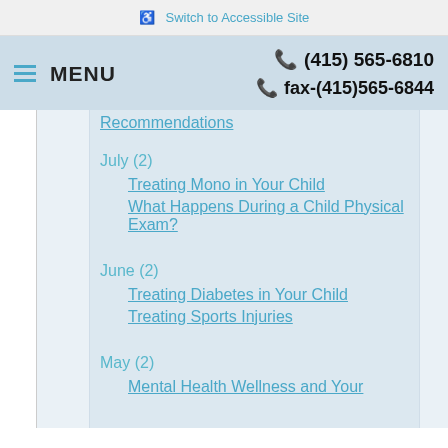Switch to Accessible Site
MENU   (415) 565-6810   fax-(415)565-6844
Recommendations
July (2)
Treating Mono in Your Child
What Happens During a Child Physical Exam?
June (2)
Treating Diabetes in Your Child
Treating Sports Injuries
May (2)
Mental Health Wellness and Your